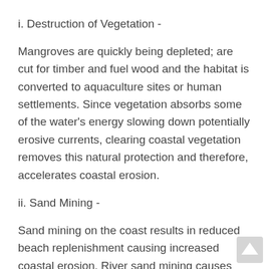i. Destruction of Vegetation -
Mangroves are quickly being depleted; are cut for timber and fuel wood and the habitat is converted to aquaculture sites or human settlements. Since vegetation absorbs some of the water's energy slowing down potentially erosive currents, clearing coastal vegetation removes this natural protection and therefore, accelerates coastal erosion.
ii. Sand Mining -
Sand mining on the coast results in reduced beach replenishment causing increased coastal erosion. River sand mining causes erosion of river banks and deepening of river beds that latter results in the